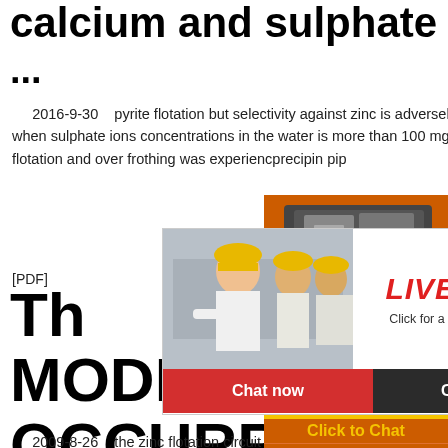calcium and sulphate
...
2016-9-30    pyrite flotation but selectivity against zinc is adversely affected in flotation of copper and zinc when sulphate ions concentrations in the water is more than 100 mg/l. In Laisvall concentrator deterio... lead flotation and over frothing was experienc... precip... in pip...
[PDF]
THE MODE OF OCCURRENCE GALENA
[Figure (screenshot): Live Chat overlay popup with photo of person in hard hat, red LIVE CHAT text, 'Click for a Free Consultation', Chat now and Chat later buttons]
[Figure (screenshot): Right sidebar advertisement with machinery images, orange background, 'Enjoy 3% discount', 'Click to Chat', 'Enquiry', and 'limingjlmofen@sina.com']
2009-8-26    the zinc flotation circuit after activation